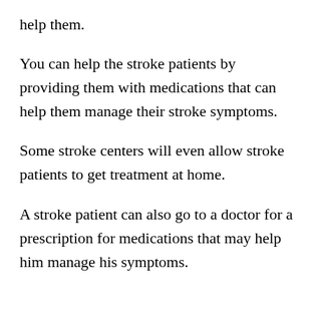help them.
You can help the stroke patients by providing them with medications that can help them manage their stroke symptoms.
Some stroke centers will even allow stroke patients to get treatment at home.
A stroke patient can also go to a doctor for a prescription for medications that may help him manage his symptoms.